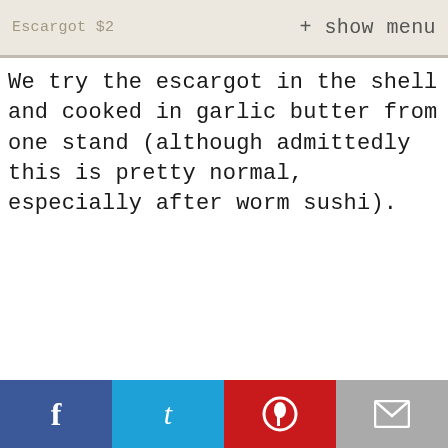Escargot $2   + show menu
We try the escargot in the shell and cooked in garlic butter from one stand (although admittedly this is pretty normal, especially after worm sushi).
f  t  p  mail icons (Facebook, Twitter, Pinterest, Email share buttons)